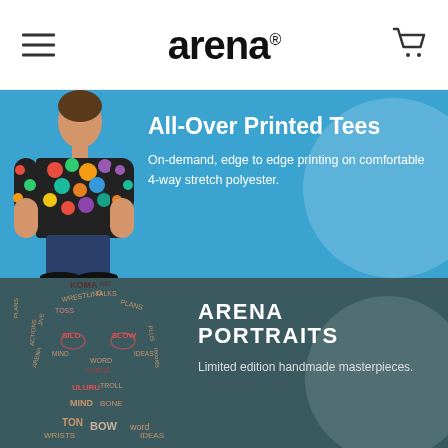arena® [hamburger menu] [cart icon]
[Figure (photo): Blue banner showing a man wearing an all-over printed colorful t-shirt on the left, with bold white text 'All-Over Printed Tees' and subtitle 'On-demand, edge to edge printing on comfortable 4-way stretch polyester.' on the right, with a semi-transparent white circle decoration.]
[Figure (photo): Dark teal banner showing a typography portrait illustration (face made of text/words) on the left, with bold white uppercase text 'ARENA PORTRAITS' and subtitle 'Limited edition handmade masterpieces.' on the right, with a semi-transparent white circle decoration.]